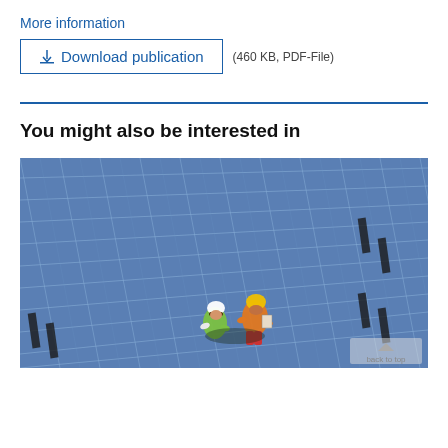More information
Download publication (460 KB, PDF-File)
You might also be interested in
[Figure (photo): Two workers in high-visibility vests and hard hats inspecting a large solar panel installation from above, surrounded by rows of blue solar panels.]